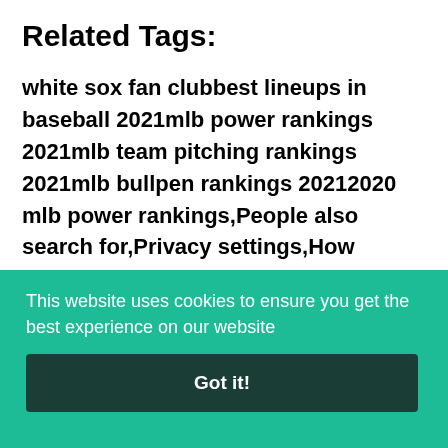Related Tags:
white sox fan clubbest lineups in baseball 2021mlb power rankings 2021mlb team pitching rankings 2021mlb bullpen rankings 20212020 mlb power rankings,People also search for,Privacy settings,How Search works,best lineups in baseball 2021,mlb power rankings 2021,mlb team pitching rankings 2021,mlb bullpen rankings 2021,2020 mlb
This website uses cookies to ensure you get the best experience on our website
Got it!